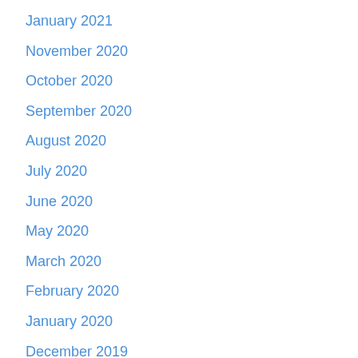January 2021
November 2020
October 2020
September 2020
August 2020
July 2020
June 2020
May 2020
March 2020
February 2020
January 2020
December 2019
November 2019
October 2019